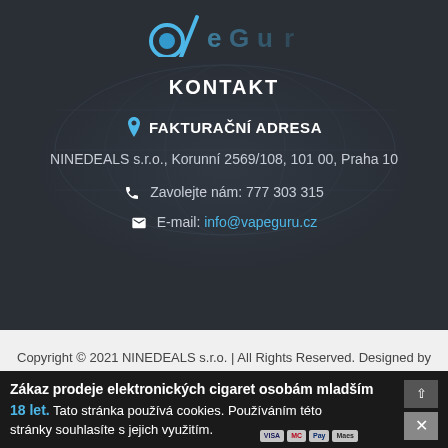[Figure (logo): Partial logo at top of dark section with blue circle and teal/blue text mark]
KONTAKT
📍 FAKTURAČNÍ ADRESA
NINEDEALS s.r.o., Korunní 2569/108, 101 00, Praha 10
Zavolejte nám: 777 303 315
E-mail: info@vapeguru.cz
Copyright © 2021 NINEDEALS s.r.o. | All Rights Reserved. Designed by WEBnOOk
Zákaz prodeje elektronických cigaret osobám mladším 18 let. Tato stránka používá cookies. Používáním této stránky souhlasíte s jejich využitím.